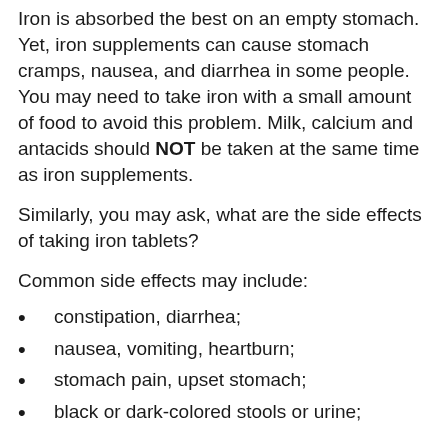Iron is absorbed the best on an empty stomach. Yet, iron supplements can cause stomach cramps, nausea, and diarrhea in some people. You may need to take iron with a small amount of food to avoid this problem. Milk, calcium and antacids should NOT be taken at the same time as iron supplements.
Similarly, you may ask, what are the side effects of taking iron tablets?
Common side effects may include:
constipation, diarrhea;
nausea, vomiting, heartburn;
stomach pain, upset stomach;
black or dark-colored stools or urine;